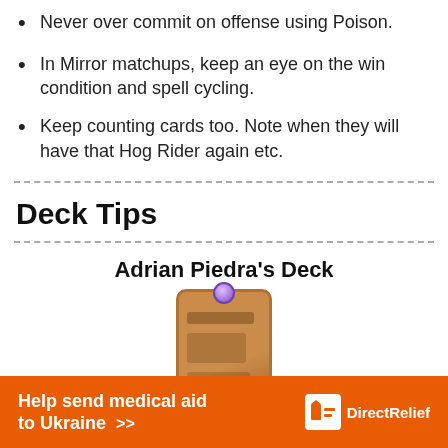Never over commit on offense using Poison.
In Mirror matchups, keep an eye on the win condition and spell cycling.
Keep counting cards too. Note when they will have that Hog Rider again etc.
Deck Tips
Adrian Piedra's Deck
[Figure (illustration): A game card with purple gem on top and brownish-orange card face with stylized art lines]
[Figure (infographic): Orange advertisement banner reading 'Help send medical aid to Ukraine >>' with DirectRelief logo on the right]